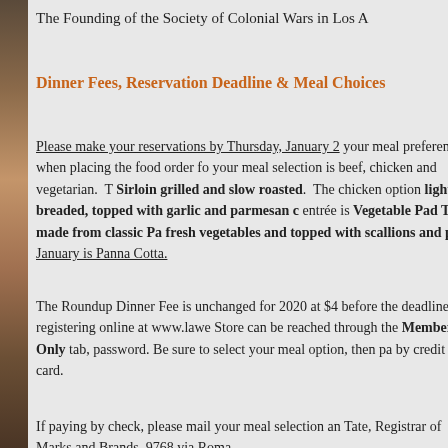The Founding of the Society of Colonial Wars in Los A
Dinner Fees, Reservation Deadline & Meal Choices
Please make your reservations by Thursday, January 2 your meal preferences when placing the food order fo your meal selection is beef, chicken and vegetarian. T Sirloin grilled and slow roasted. The chicken option lightly breaded, topped with garlic and parmesan c entrée is Vegetable Pad Thai, made from classic Pa fresh vegetables and topped with scallions and pea January is Panna Cotta. The Roundup Dinner Fee is unchanged for 2020 at $4 before the deadline. If registering online at www.lawe Store can be reached through the Members Only tab, password. Be sure to select your meal option, then pa by credit card. If paying by check, please mail your meal selection an Tate, Registrar of Marks and Brands, 9768 via Roma,